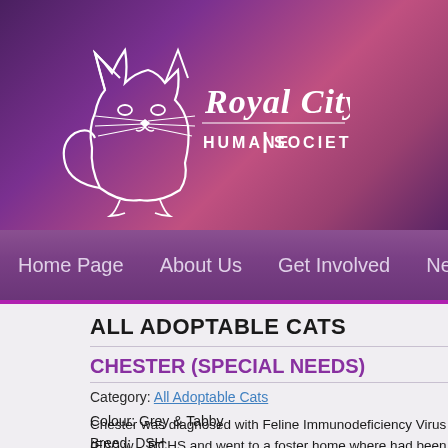[Figure (logo): Royal City Humane Society logo with cat outline and text 'Royal City HUMANE SOCIETY' in white on purple/pink gradient background]
Home Page   About Us   Get Involved   Ne
ALL ADOPTABLE CATS
CHESTER (SPECIAL NEEDS)
Category: All Adoptable Cats
Colour: Grey & Tabby
Breed: DSH
DOB: March 2007
Sex: Male/Neutered
Special Needs: FIV Positive
Chester was diagnosed with Feline Immunodeficiency Virus (FIV) w... RCHS and went to a foster home where had been so happy and w... sadly his foster mom got an agressive form of cancer and died one... diagnosis. He's a real sweetheart, kinda shy, very loving and love...